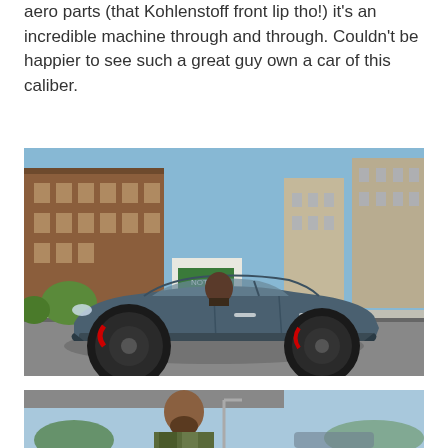aero parts (that Kohlenstoff front lip tho!) it's an incredible machine through and through. Couldn't be happier to see such a great guy own a car of this caliber.
[Figure (photo): A dark blue/grey BMW M3 sedan driving on a city street with urban apartment buildings in the background. An accessibility icon button overlays the bottom-right corner of the image.]
[Figure (photo): A man in camouflage jacket standing outdoors in a city/urban setting, partially cut off at the bottom of the page. A chat widget overlays the right side reading 'Questions? We can help. Chat with us now.']